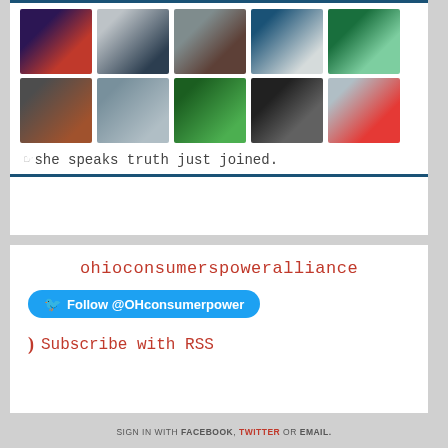[Figure (photo): Grid of 10 profile/follower thumbnail photos arranged in 2 rows of 5]
☞ she speaks truth just joined.
ohioconsumerspoweralliance
Follow @OHconsumerpower
Subscribe with RSS
SIGN IN WITH FACEBOOK, TWITTER OR EMAIL.